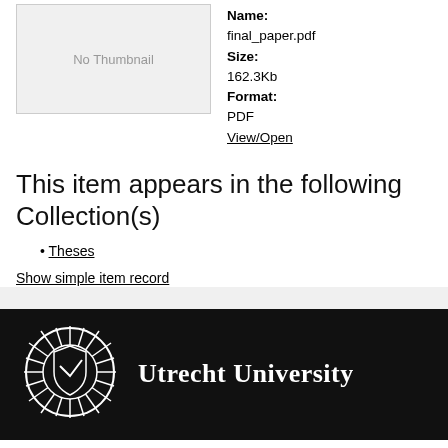[Figure (other): No Thumbnail placeholder box]
Name: final_paper.pdf Size: 162.3Kb Format: PDF View/Open
This item appears in the following Collection(s)
Theses
Show simple item record
[Figure (logo): Utrecht University logo with sunburst emblem and university name in white on black background]